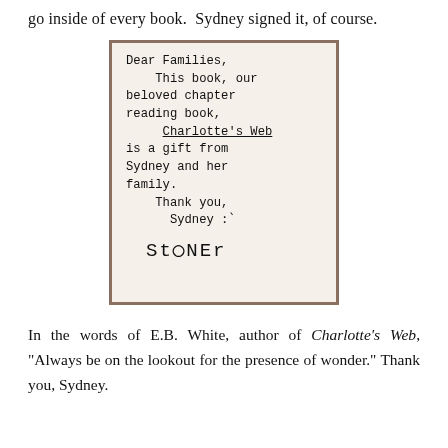go inside of every book.  Sydney signed it, of course.
[Figure (photo): Handwritten note on paper inside a book. Text reads: Dear Families, This book, our beloved chapter reading book, Charlotte's Web is a gift from Sydney and her family. Thank you, Sydney :) [signature: StONEr]]
In the words of E.B. White, author of Charlotte's Web, "Always be on the lookout for the presence of wonder." Thank you, Sydney.